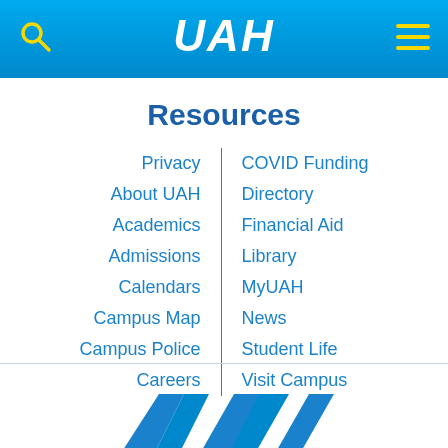UAH navigation header with search icon and menu icon
Resources
Privacy
About UAH
Academics
Admissions
Calendars
Campus Map
Campus Police
Careers
COVID Funding
Directory
Financial Aid
Library
MyUAH
News
Student Life
Visit Campus
[Figure (logo): UAH logo partial view at bottom of page]